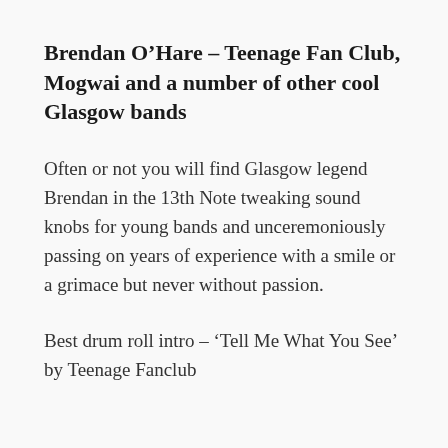Brendan O’Hare – Teenage Fan Club, Mogwai and a number of other cool Glasgow bands
Often or not you will find Glasgow legend Brendan in the 13th Note tweaking sound knobs for young bands and unceremoniously passing on years of experience with a smile or a grimace but never without passion.
Best drum roll intro – ‘Tell Me What You See’ by Teenage Fanclub